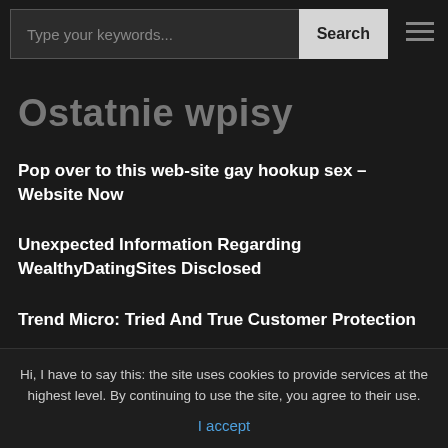Type your keywords... Search
Ostatnie wpisy
Pop over to this web-site gay hookup sex – Website Now
Unexpected Information Regarding WealthyDatingSites Disclosed
Trend Micro: Tried And True Customer Protection Program Ensuring the security of
Hi, I have to say this: the site uses cookies to provide services at the highest level. By continuing to use the site, you agree to their use.
I accept